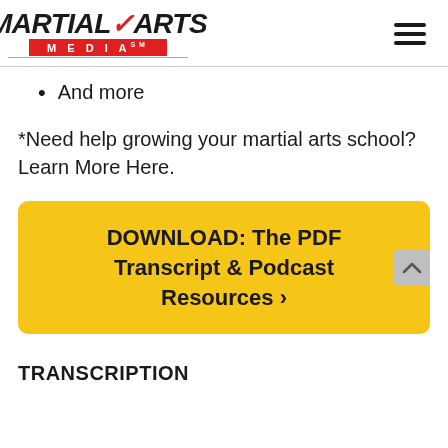MARTIAL ARTS MEDIA
And more
*Need help growing your martial arts school? Learn More Here.
[Figure (other): Yellow CTA button: DOWNLOAD: The PDF Transcript & Podcast Resources >]
TRANSCRIPTION